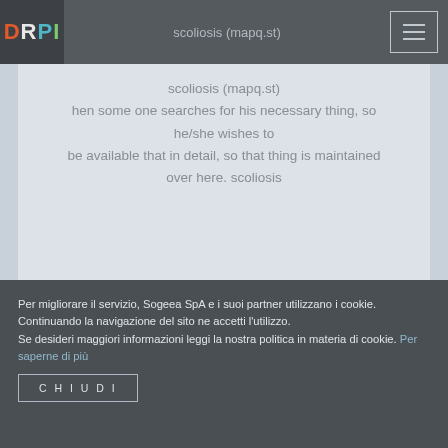DRPI | scoliosis (mapq.st)
scoliosis (mapq.st)
hen some one searches for his necessary thing, so he/she wishes to
be available that in detail, so that thing is maintained over here. scoliosis
Per migliorare il servizio, Sogeea SpA e i suoi partner utilizzano i cookie. Continuando la navigazione del sito ne accetti l'utilizzo.
Se desideri maggiori informazioni leggi la nostra politica in materia di cookie. Per saperne di più
CHIUDI